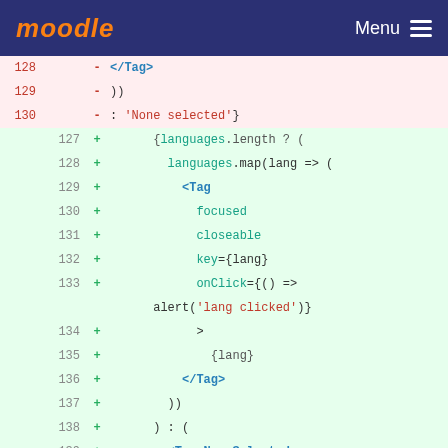moodle  Menu
[Figure (screenshot): A code diff view showing removed lines (128-130) in pink/red and added lines (127-140) in green, plus a neutral line (131/141). The code is JSX/React showing language tags rendering.]